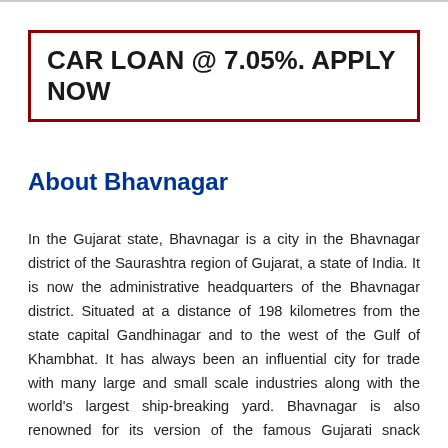[Figure (other): Advertisement banner with dark red border: CAR LOAN @ 7.05%. APPLY NOW]
About Bhavnagar
In the Gujarat state, Bhavnagar is a city in the Bhavnagar district of the Saurashtra region of Gujarat, a state of India. It is now the administrative headquarters of the Bhavnagar district. Situated at a distance of 198 kilometres from the state capital Gandhinagar and to the west of the Gulf of Khambhat. It has always been an influential city for trade with many large and small scale industries along with the world's largest ship-breaking yard. Bhavnagar is also renowned for its version of the famous Gujarati snack 'Ganthiya' and 'temples'